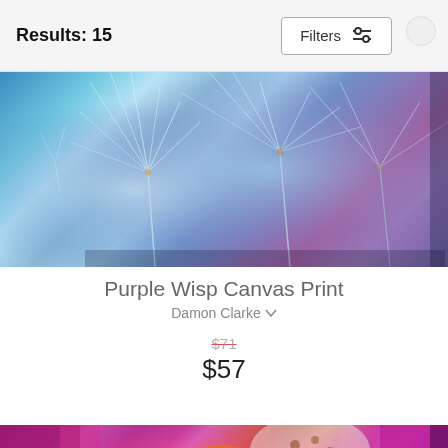Results: 15
Filters
[Figure (photo): Close-up macro photo of dandelion wisps on a blue-purple gradient background, displayed as a wide canvas print with visible side depth.]
Purple Wisp Canvas Print
Damon Clarke
$71 (strikethrough original price) $57 (sale price)
[Figure (photo): Macro photo of colorful flowers/orchids in vibrant purple, pink, orange tones displayed as a wide canvas print, partially visible at bottom of page.]